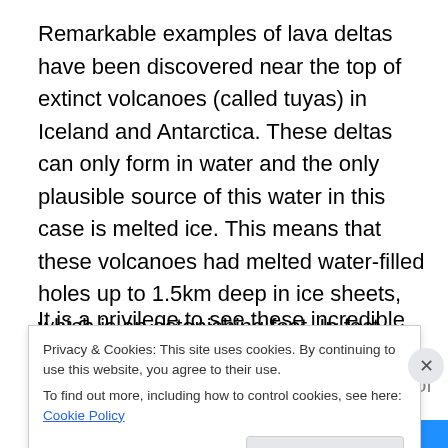Remarkable examples of lava deltas have been discovered near the top of extinct volcanoes (called tuyas) in Iceland and Antarctica. These deltas can only form in water and the only plausible source of this water in this case is melted ice. This means that these volcanoes had melted water-filled holes up to 1.5km deep in ice sheets, which is an astonishing feat. In fact, these lava deltas are the only remaining evidence of long-vanished ice sheets.
It is a privilege to see these incredible scenes of lava meeting the ocean. The ongoing eruptions form part of the...
Privacy & Cookies: This site uses cookies. By continuing to use this website, you agree to their use.
To find out more, including how to control cookies, see here: Cookie Policy
Close and accept